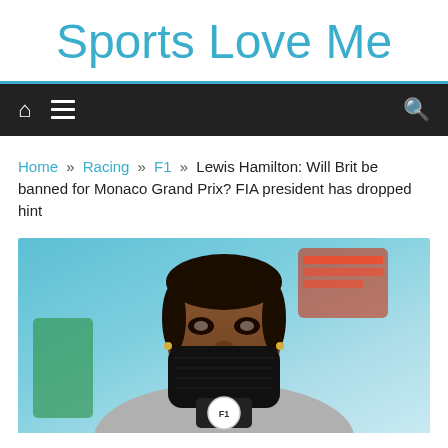Sports Love Me
Home » Racing » F1 » Lewis Hamilton: Will Brit be banned for Monaco Grand Prix? FIA president has dropped hint
[Figure (photo): Lewis Hamilton wearing a black face mask, photographed at a press conference with colorful blurred background, microphone with F1 logo visible]